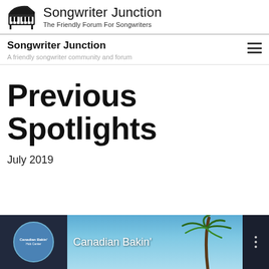Songwriter Junction – The Friendly Forum For Songwriters
Songwriter Junction
A friendly songwriter community and forum
Previous Spotlights
July 2019
[Figure (screenshot): Video thumbnail card for 'Canadian Bakin'' with circular logo, palm tree background photo, and three-dot menu icon on dark background]